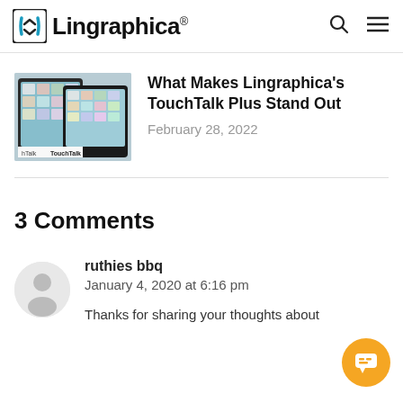Lingraphica®
[Figure (screenshot): Thumbnail image of TouchTalk devices showing communication app interface with grid of pictographic icons]
What Makes Lingraphica's TouchTalk Plus Stand Out
February 28, 2022
3 Comments
ruthies bbq
January 4, 2020 at 6:16 pm
Thanks for sharing your thoughts about